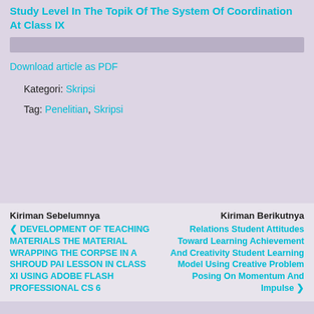Study Level In The Topik Of The System Of Coordination At Class IX
Download article as PDF
Kategori: Skripsi
Tag: Penelitian, Skripsi
Kiriman Sebelumnya
DEVELOPMENT OF TEACHING MATERIALS THE MATERIAL WRAPPING THE CORPSE IN A SHROUD PAI LESSON IN CLASS XI USING ADOBE FLASH PROFESSIONAL CS 6
Kiriman Berikutnya
Relations Student Attitudes Toward Learning Achievement And Creativity Student Learning Model Using Creative Problem Posing On Momentum And Impulse